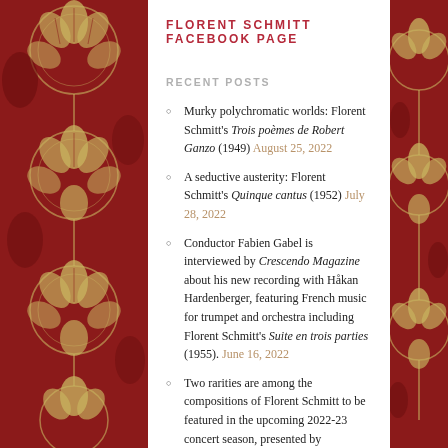FLORENT SCHMITT FACEBOOK PAGE
RECENT POSTS
Murky polychromatic worlds: Florent Schmitt's Trois poèmes de Robert Ganzo (1949) August 25, 2022
A seductive austerity: Florent Schmitt's Quinque cantus (1952) July 28, 2022
Conductor Fabien Gabel is interviewed by Crescendo Magazine about his new recording with Håkan Hardenberger, featuring French music for trumpet and orchestra including Florent Schmitt's Suite en trois parties (1955). June 16, 2022
Two rarities are among the compositions of Florent Schmitt to be featured in the upcoming 2022-23 concert season, presented by orchestras in Amsterdam, Berlin, Buffalo, Indianapolis, Lübeck, Saint Louis, Stockholm,